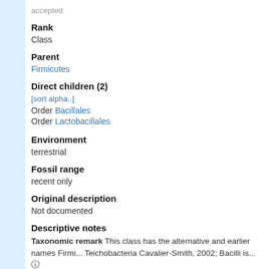accepted
Rank
Class
Parent
Firmicutes
Direct children (2)
[sort alpha..]
Order Bacillales
Order Lactobacillales
Environment
terrestrial
Fossil range
recent only
Original description
Not documented
Descriptive notes
Taxonomic remark This class has the alternative and earlier names Firmi... Teichobacteria Cavalier-Smith, 2002; Bacilli is... 🛈
Taxonomic citation